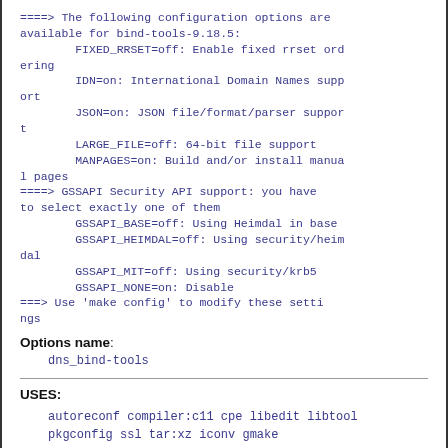====> The following configuration options are available for bind-tools-9.18.5:
        FIXED_RRSET=off: Enable fixed rrset ordering
        IDN=on: International Domain Names support
        JSON=on: JSON file/format/parser support
        LARGE_FILE=off: 64-bit file support
        MANPAGES=on: Build and/or install manual pages
====> GSSAPI Security API support: you have to select exactly one of them
        GSSAPI_BASE=off: Using Heimdal in base
        GSSAPI_HEIMDAL=off: Using security/heimdal
        GSSAPI_MIT=off: Using security/krb5
        GSSAPI_NONE=on: Disable
===> Use 'make config' to modify these settings
Options name:
dns_bind-tools
USES:
autoreconf compiler:c11 cpe libedit libtool pkgconfig ssl tar:xz iconv gmake